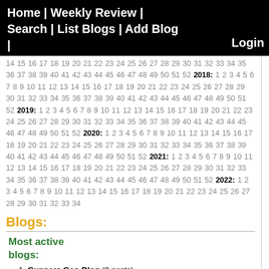Home | Weekly Review | Search | List Blogs | Add Blog |
14 15 16 17 18 19 20 21 22 23 24 25 26 27 28 29 30 31 32 33 34 35 36 37 38 39 40 41 42 43 44 45 46 47 48 49 50 51 52 2018: 1 2 3 4 5 6 7 8 9 10 11 12 13 14 15 16 17 18 19 20 21 22 23 24 25 26 27 28 29 30 31 32 33 34 35 36 37 38 39 40 41 42 43 44 45 46 47 48 49 50 51 52 2019: 1 2 3 4 5 6 7 8 9 10 11 12 13 14 15 16 17 18 19 20 21 22 23 24 25 26 27 28 29 30 31 32 33 34 35 36 37 38 39 40 41 42 43 44 45 46 47 48 49 50 51 52 2020: 1 2 3 4 5 6 7 8 9 10 11 12 13 14 15 16 17 18 19 20 21 22 23 24 25 26 27 28 29 30 31 32 33 34 35 36 37 38 39 40 41 42 43 44 45 46 47 48 49 50 51 52 2021: 1 2 3 4 5 6 7 8 9 10 11 12 13 14 15 16 17 18 19 20 21 22 23 24 25 26 27 28 29 30 31 32 33 34 35 36 37 38 39 40 41 42 43 44 45 46 47 48 49 50 51 52 2022: 1 2 3 4 5 6 7 8 9 10 11 12 13 14 15 16 17 18 19 20 21 22 23 24 25 26 27 28 29 30 31 32 33 34
Blogs:
Most active blogs:
Gunnars Geo-Blog (8 posts)
State of the Planet (8 posts)
Ontario-geofish (7